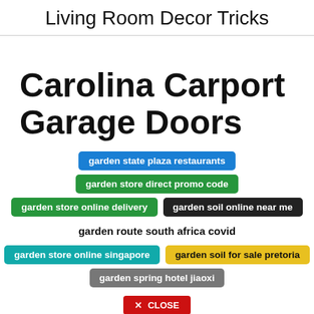Living Room Decor Tricks
Carolina Carport Garage Doors
garden state plaza restaurants
garden store direct promo code
garden store online delivery
garden soil online near me
garden route south africa covid
garden store online singapore
garden soil for sale pretoria
garden spring hotel jiaoxi
✕ CLOSE